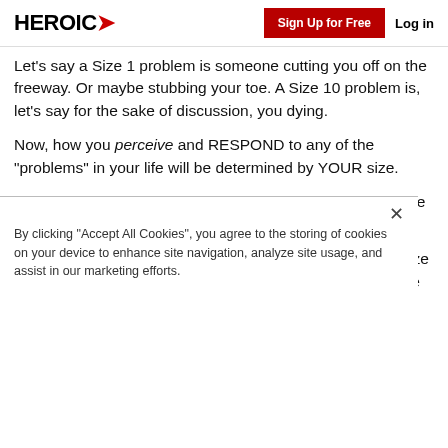HEROIC | Sign Up for Free | Log in
Let's say a Size 1 problem is someone cutting you off on the freeway. Or maybe stubbing your toe. A Size 10 problem is, let's say for the sake of discussion, you dying.
Now, how you perceive and RESPOND to any of the "problems" in your life will be determined by YOUR size.
You can be a Size 1 person or a Size 3 or a Size 5 or a Size 10 or whatever.
Now, let's look at what happens when you experience a Size 1 problem of someone cutting you off on the freeway. To be...
By clicking "Accept All Cookies", you agree to the storing of cookies on your device to enhance site navigation, analyze site usage, and assist in our marketing efforts.